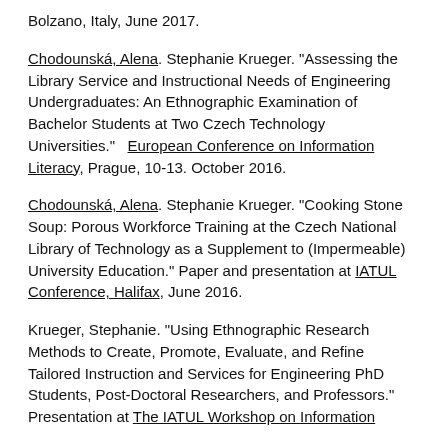Bolzano, Italy, June 2017.
Chodounská, Alena. Stephanie Krueger. "Assessing the Library Service and Instructional Needs of Engineering Undergraduates: An Ethnographic Examination of Bachelor Students at Two Czech Technology Universities."  European Conference on Information Literacy, Prague, 10-13. October 2016.
Chodounská, Alena. Stephanie Krueger. "Cooking Stone Soup: Porous Workforce Training at the Czech National Library of Technology as a Supplement to (Impermeable) University Education." Paper and presentation at IATUL Conference, Halifax, June 2016.
Krueger, Stephanie. "Using Ethnographic Research Methods to Create, Promote, Evaluate, and Refine Tailored Instruction and Services for Engineering PhD Students, Post-Doctoral Researchers, and Professors." Presentation at The IATUL Workshop on Information